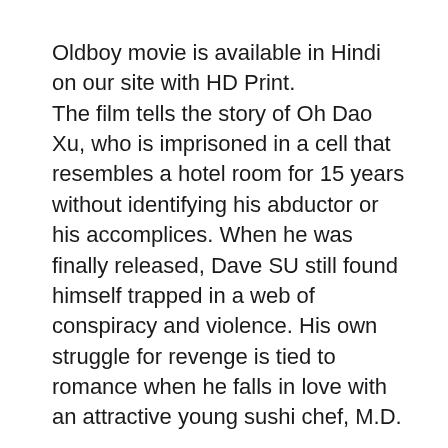Oldboy movie is available in Hindi on our site with HD Print. The film tells the story of Oh Dao Xu, who is imprisoned in a cell that resembles a hotel room for 15 years without identifying his abductor or his accomplices. When he was finally released, Dave SU still found himself trapped in a web of conspiracy and violence. His own struggle for revenge is tied to romance when he falls in love with an attractive young sushi chef, M.D.